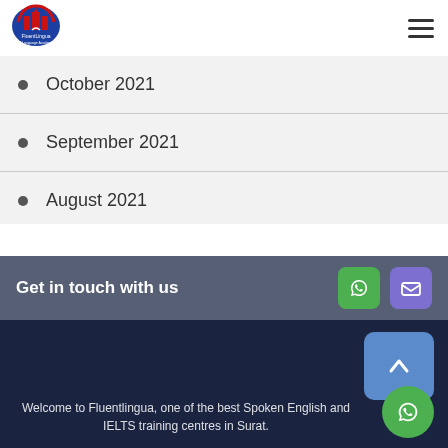[Figure (logo): FluentLingua – A Language Academy logo with red and blue oval badge]
October 2021
September 2021
August 2021
Get in touch with us
Welcome to Fluentlingua, one of the best Spoken English and IELTS training centres in Surat.